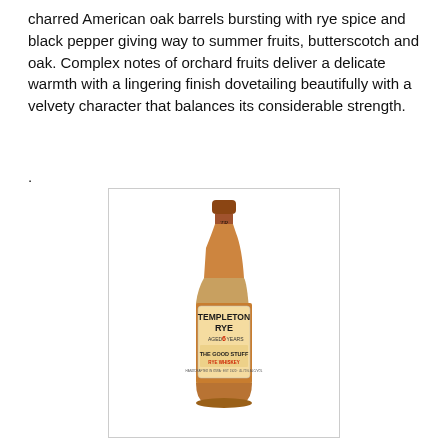charred American oak barrels bursting with rye spice and black pepper giving way to summer fruits, butterscotch and oak. Complex notes of orchard fruits deliver a delicate warmth with a lingering finish dovetailing beautifully with a velvety character that balances its considerable strength.
.
[Figure (photo): Bottle of Templeton Rye Aged 6 Years whiskey labeled 'THE GOOD STUFF RYE WHISKEY' with an amber liquid visible inside]